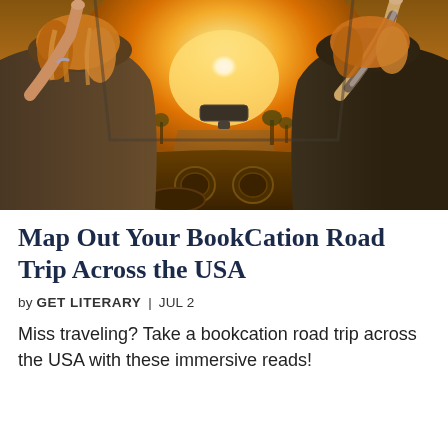[Figure (photo): Two people in a convertible car viewed from behind, arms raised with fingers pointing up, bright golden sunlight streaming through the windshield, road trip scene]
Map Out Your BookCation Road Trip Across the USA
by GET LITERARY | JUL 2
Miss traveling? Take a bookcation road trip across the USA with these immersive reads!